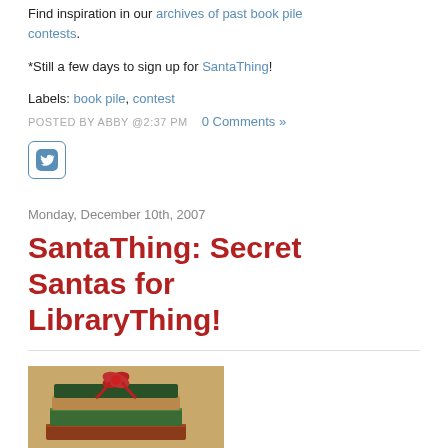Find inspiration in our archives of past book pile contests.
*Still a few days to sign up for SantaThing!
Labels: book pile, contest
POSTED BY ABBY @2:37 PM   0 Comments »
[Figure (logo): Twitter bird icon button]
Monday, December 10th, 2007
SantaThing: Secret Santas for LibraryThing!
[Figure (photo): Stack of books with a red bow on top, on a wooden surface]